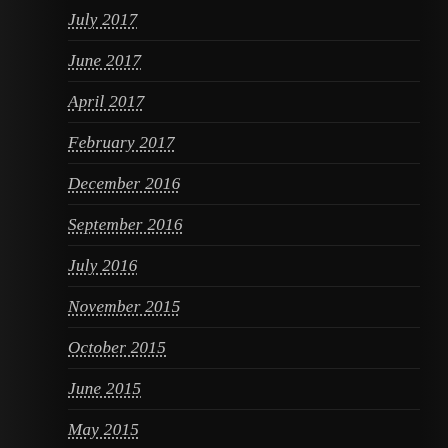July 2017
June 2017
April 2017
February 2017
December 2016
September 2016
July 2016
November 2015
October 2015
June 2015
May 2015